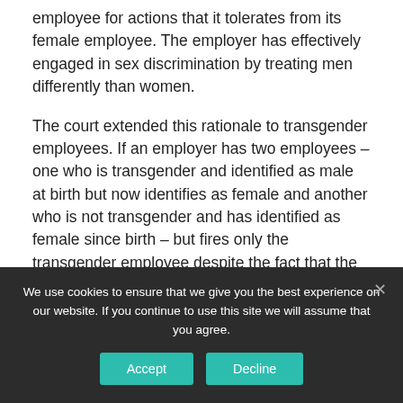employee for actions that it tolerates from its female employee. The employer has effectively engaged in sex discrimination by treating men differently than women.

The court extended this rationale to transgender employees. If an employer has two employees – one who is transgender and identified as male at birth but now identifies as female and another who is not transgender and has identified as female since birth – but fires only the transgender employee despite the fact that the transgender employee is otherwise identical to the non-
We use cookies to ensure that we give you the best experience on our website. If you continue to use this site we will assume that you agree.